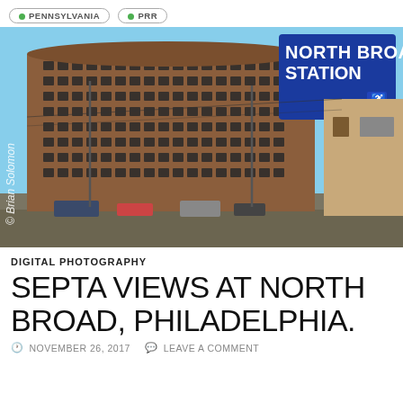PENNSYLVANIA  PRR
[Figure (photo): Street-level photo of North Broad Station area in Philadelphia. A large multi-story brick building is on the left. A prominent blue SEPTA sign reading 'NORTH BROAD STATION' is in the upper right. A wheelchair accessible symbol is on the sign. Photo watermark '© Brian Solomon' is along the left edge. Blue sky and urban streetscape with cars, poles, and signage visible.]
DIGITAL PHOTOGRAPHY
SEPTA VIEWS AT NORTH BROAD, PHILADELPHIA.
NOVEMBER 26, 2017   LEAVE A COMMENT